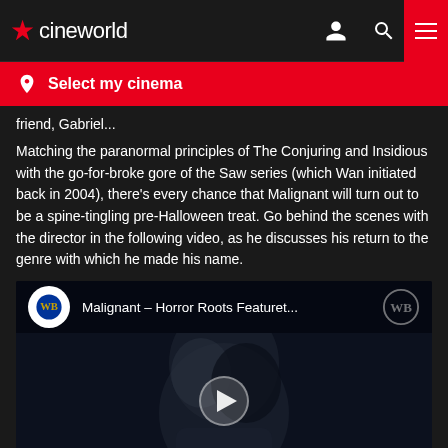cineworld
Select my cinema
friend, Gabriel...
Matching the paranormal principles of The Conjuring and Insidious with the go-for-broke gore of the Saw series (which Wan initiated back in 2004), there's every chance that Malignant will turn out to be a spine-tingling pre-Halloween treat. Go behind the scenes with the director in the following video, as he discusses his return to the genre with which he made his name.
[Figure (screenshot): YouTube video thumbnail for 'Malignant – Horror Roots Featuret...' showing a man's face in black and white with a WB logo circle on the left and WB logo on the right, with a play button in the center]